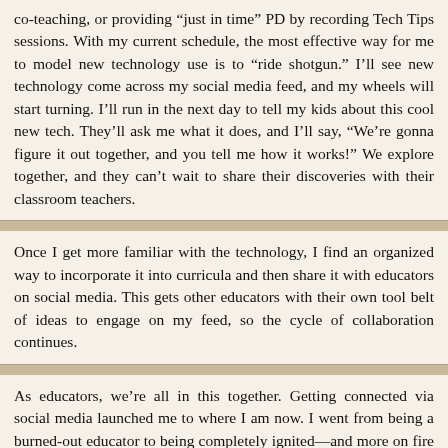co-teaching, or providing “just in time” PD by recording Tech Tips sessions. With my current schedule, the most effective way for me to model new technology use is to “ride shotgun.” I’ll see new technology come across my social media feed, and my wheels will start turning. I’ll run in the next day to tell my kids about this cool new tech. They’ll ask me what it does, and I’ll say, “We’re gonna figure it out together, and you tell me how it works!” We explore together, and they can’t wait to share their discoveries with their classroom teachers.
Once I get more familiar with the technology, I find an organized way to incorporate it into curricula and then share it with educators on social media. This gets other educators with their own tool belt of ideas to engage on my feed, so the cycle of collaboration continues.
As educators, we’re all in this together. Getting connected via social media launched me to where I am now. I went from being a burned-out educator to being completely ignited—and more on fire than I was when I first started teaching.
Nikki’a Do’s Rel…